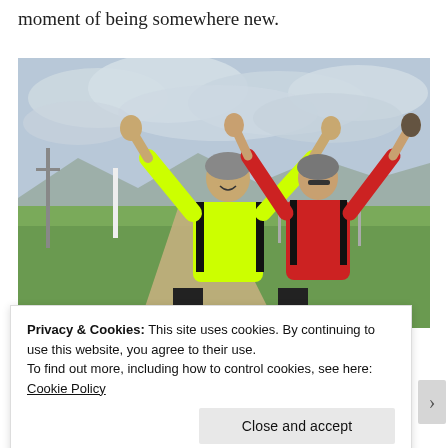moment of being somewhere new.
[Figure (photo): Two cyclists wearing helmets with arms raised in celebration, standing on a rural path. The person on the left wears a neon yellow jacket, the person on the right wears a red jacket. Green fields and cloudy sky in the background.]
Privacy & Cookies: This site uses cookies. By continuing to use this website, you agree to their use.
To find out more, including how to control cookies, see here: Cookie Policy
Close and accept